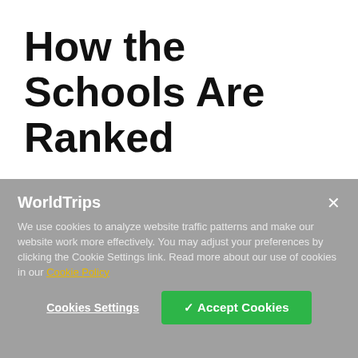How the Schools Are Ranked
The list below cross-references U.S. News and World Report's 2018 list of the USA's best graduate engineering schools with LendEdu's ranking of over
WorldTrips
We use cookies to analyze website traffic patterns and make our website work more effectively. You may adjust your preferences by clicking the Cookie Settings link. Read more about our use of cookies in our Cookie Policy
Cookies Settings
✓ Accept Cookies